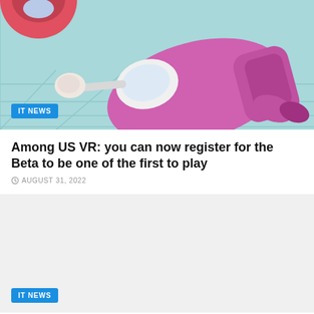[Figure (illustration): Among US VR game character illustration — pink astronaut figure falling/lying on a teal floor with a wrench, partial red character visible at top left]
IT NEWS
Among US VR: you can now register for the Beta to be one of the first to play
AUGUST 31, 2022
[Figure (photo): Second article image placeholder — light gray rectangle]
IT NEWS